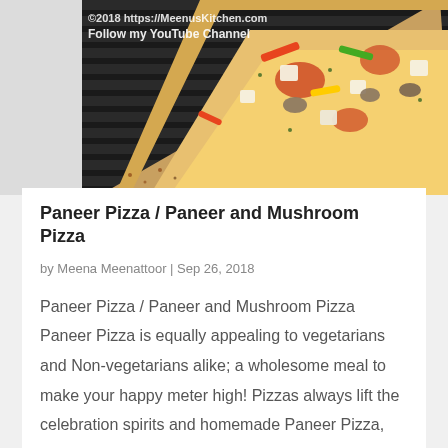[Figure (photo): A pizza with colorful toppings including paneer, mushrooms, bell peppers, and cheese on a dark ribbed grill pan, with watermark text overlay]
Paneer Pizza / Paneer and Mushroom Pizza
by Meena Meenattoor | Sep 26, 2018
Paneer Pizza / Paneer and Mushroom Pizza Paneer Pizza is equally appealing to vegetarians and Non-vegetarians alike; a wholesome meal to make your happy meter high! Pizzas always lift the celebration spirits and homemade Paneer Pizza, fresh from oven is welcomed with...